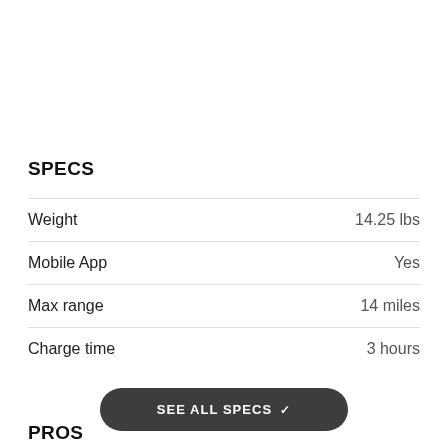SPECS
| Spec | Value |
| --- | --- |
| Weight | 14.25 lbs |
| Mobile App | Yes |
| Max range | 14 miles |
| Charge time | 3 hours |
SEE ALL SPECS
PROS